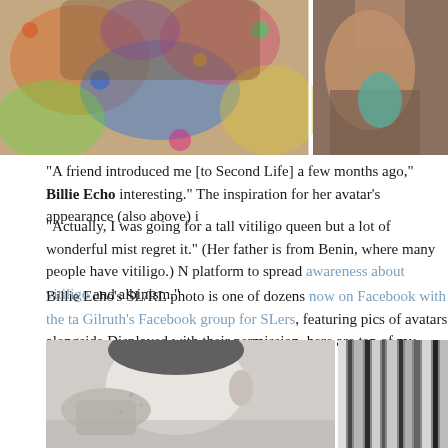[Figure (photo): Top portion showing two photos side by side: left shows a person with colorful patterned clothing, right shows a partial view of another person]
“A friend introduced me [to Second Life] a few months ago,” Billie Echo interesting.” The inspiration for her avatar’s appearance (also above) i
“Actually, I was going for a tall vitiligo queen but a lot of wonderful mist regret it.” (Her father is from Benin, where many people have vitiligo.) N platform to spread awareness about vitiligo and albinism.”
Billie Echo’s SL/RL photo is one of dozens now on Facebook with the ta Gilruth’s Facebook group for SLers, featuring pics of avatars alongside Displayed with their permission, here are ten of my favorites, featuring their avatar’s appearance:
[Figure (photo): Bottom photo showing a black and white image: left side shows a man with his hand near his face with water droplets, right side shows a blurred striped pattern]